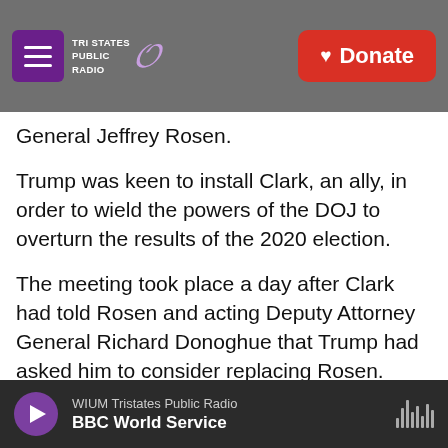Tri States Public Radio | Donate
General Jeffrey Rosen.
Trump was keen to install Clark, an ally, in order to wield the powers of the DOJ to overturn the results of the 2020 election.
The meeting took place a day after Clark had told Rosen and acting Deputy Attorney General Richard Donoghue that Trump had asked him to consider replacing Rosen. Clark doubled down on claims that there had been fraud in the election and acknowledged he had had continued discussions with Trump, despite assuring the pair a week prior
WIUM Tristates Public Radio | BBC World Service